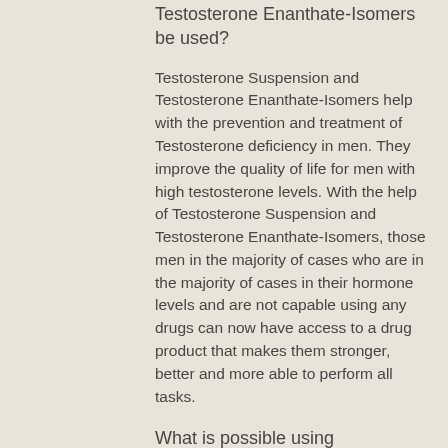How should Testosterone Suspension and Testosterone Enanthate-Isomers be used?
Testosterone Suspension and Testosterone Enanthate-Isomers help with the prevention and treatment of Testosterone deficiency in men. They improve the quality of life for men with high testosterone levels. With the help of Testosterone Suspension and Testosterone Enanthate-Isomers, those men in the majority of cases who are in the majority of cases in their hormone levels and are not capable using any drugs can now have access to a drug product that makes them stronger, better and more able to perform all tasks.
What is possible using Testosterone Suspension and Testosterone Enanthate-Isomers?
Similar articles: